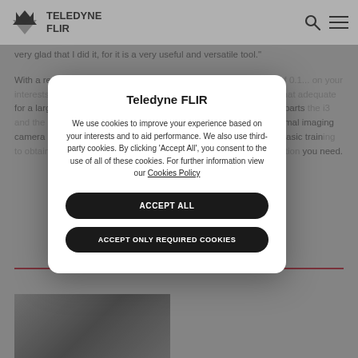Teledyne FLIR
very glad that I did it, for it is a very useful and versatile tool."
With a resolution of ... thermal sensitivity of 0.1... professionals with a thermal imaging solution that adequate for a large number of applications. Together with its similar counterparts the i3 and the i7, it is one of the smallest, lightest and most affordable thermal imaging camera on the market. Designed to be easy to use it requires but basic training to obtain images that will immediately give you the thermal information you need.
[Figure (screenshot): Cookie consent modal dialog for Teledyne FLIR website with title 'Teledyne FLIR', cookie policy text, 'Accept All' button, and 'Accept Only Required Cookies' button]
[Figure (photo): Partial thermal imaging photo at bottom left of page]